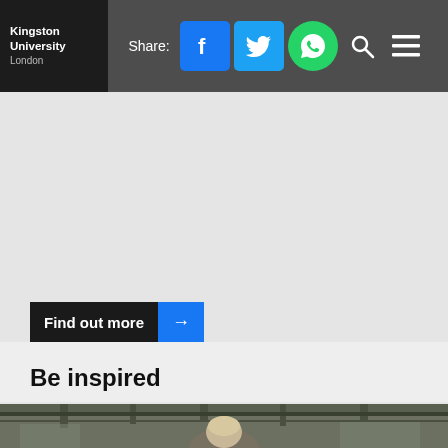Kingston University London
Share:
[Figure (screenshot): Navigation bar with Kingston University London logo, Share label, Facebook, Twitter, WhatsApp social icons, search icon, and hamburger menu icon on dark gray background]
[Figure (other): Large light gray content area (main page body, mostly empty/blank)]
Find out more →
Be inspired
[Figure (photo): Partial photo at bottom of page showing a person (seen from behind/side) in what appears to be an industrial or workshop setting with overhead equipment visible]